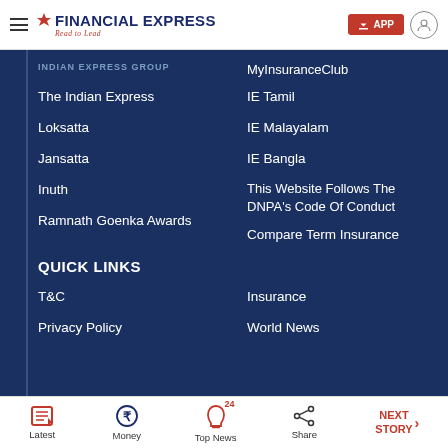Financial Express - Read to Lead
INDIAN EXPRESS GROUP
The Indian Express
Loksatta
Jansatta
Inuth
Ramnath Goenka Awards
MyInsuranceClub
IE Tamil
IE Malayalam
IE Bangla
This Website Follows The DNPA's Code Of Conduct
Compare Term Insurance
QUICK LINKS
T&C
Privacy Policy
Insurance
World News
Latest | Money | Top News | Share | NEXT STORY